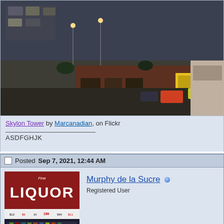[Figure (photo): Aerial photograph of a city street/parking lot area taken from Skylon Tower at dusk]
Skylon Tower by Marcanadian, on Flickr
ASDFGHJK
Posted Sep 7, 2021, 12:44 AM
[Figure (photo): Photo of a Liquor store front with large red sign]
Murphy de la Sucre
Registered User
Quote:
Originally Posted by M II A II R II K
YUP